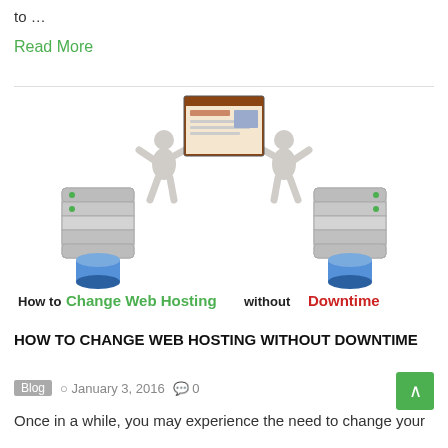to …
Read More
[Figure (illustration): Illustration of two humanoid figures carrying a website page/screenshot between two server/database icons. Text overlay reads 'How to Change Web Hosting without Downtime' with 'Change Web Hosting' in green and 'Downtime' in red.]
HOW TO CHANGE WEB HOSTING WITHOUT DOWNTIME
Blog  January 3, 2016  0
Once in a while, you may experience the need to change your